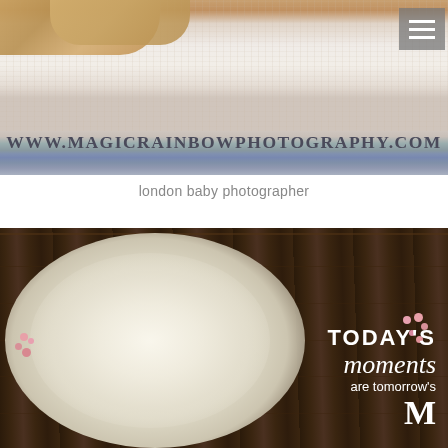[Figure (photo): Top banner photo of a newborn/baby with fluffy cream knitted wrap and what appears to be a puppy, with a watermark URL 'WWW.MAGICRAINBOWPHOTOGRAPHY.COM' overlaid on the image. A hamburger menu icon is in the top-right corner.]
london baby photographer
[Figure (photo): Photo of a baby lying in a basket with fluffy cream wrap and pink flowers/blossoms on a dark wood floor background. Text overlay reads: TODAY'S moments are tomorrow's M...]